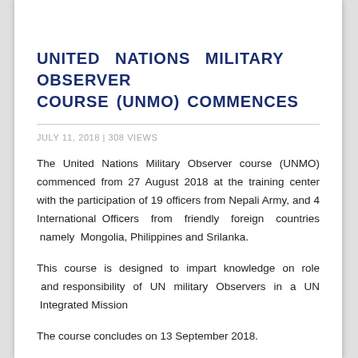UNITED NATIONS MILITARY OBSERVER COURSE (UNMO) COMMENCES
JULY 11, 2018 | 308 VIEWS
The United Nations Military Observer course (UNMO) commenced from 27 August 2018 at the training center with the participation of 19 officers from Nepali Army, and 4 International Officers from friendly foreign countries namely Mongolia, Philippines and Srilanka.
This course is designed to impart knowledge on role and responsibility of UN military Observers in a UN Integrated Mission
The course concludes on 13 September 2018.